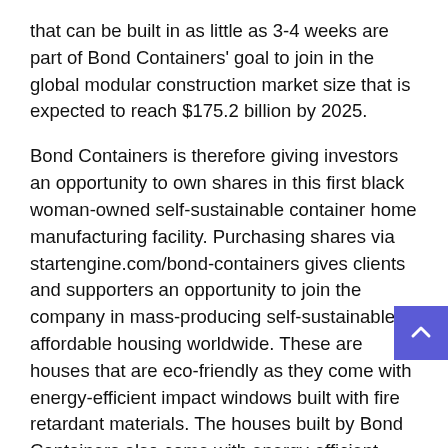that can be built in as little as 3-4 weeks are part of Bond Containers' goal to join in the global modular construction market size that is expected to reach $175.2 billion by 2025.
Bond Containers is therefore giving investors an opportunity to own shares in this first black woman-owned self-sustainable container home manufacturing facility. Purchasing shares via startengine.com/bond-containers gives clients and supporters an opportunity to join the company in mass-producing self-sustainable affordable housing worldwide. These are houses that are eco-friendly as they come with energy-efficient impact windows built with fire retardant materials. The houses built by Bond Containers also come with energy-efficient insulation, appliances, and backup off-grid solar system that can be self-sustainable. This is in addition to getting houses that can withstand earthquakes and hurricanes.
Furthermore, clients who buy shares at Bond Containers get to invest in a company that has a brand-new innovative concept meeting a need that is in high demand.